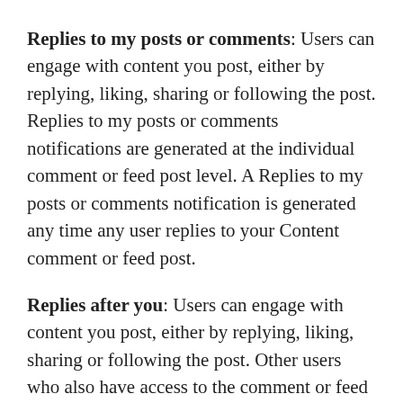Replies to my posts or comments: Users can engage with content you post, either by replying, liking, sharing or following the post. Replies to my posts or comments notifications are generated at the individual comment or feed post level. A Replies to my posts or comments notification is generated any time any user replies to your Content comment or feed post.
Replies after you: Users can engage with content you post, either by replying, liking, sharing or following the post. Other users who also have access to the comment or feed post made, may respond or reply to that comment or feed post after you. Replies after you notifications are generated at the individual comment or feed post level. A Replies after your notification is generated any time any user replies to after your